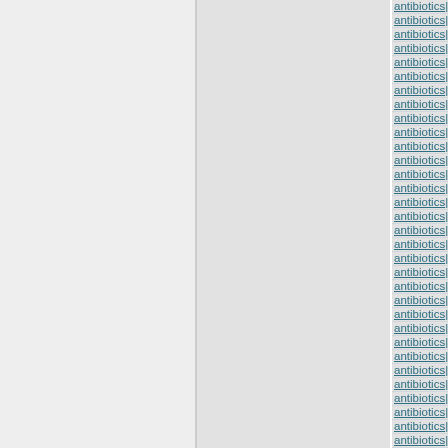antibiotics|tetracycline antib (repeated rows)